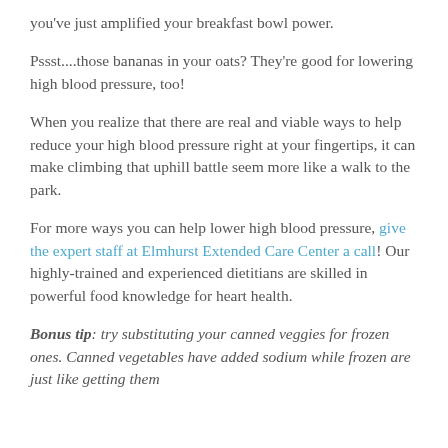you've just amplified your breakfast bowl power.
Pssst....those bananas in your oats? They're good for lowering high blood pressure, too!
When you realize that there are real and viable ways to help reduce your high blood pressure right at your fingertips, it can make climbing that uphill battle seem more like a walk to the park.
For more ways you can help lower high blood pressure, give the expert staff at Elmhurst Extended Care Center a call! Our highly-trained and experienced dietitians are skilled in powerful food knowledge for heart health.
Bonus tip: try substituting your canned veggies for frozen ones. Canned vegetables have added sodium while frozen are just like getting them